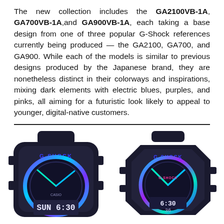The new collection includes the GA2100VB-1A, GA700VB-1A, and GA900VB-1A, each taking a base design from one of three popular G-Shock references currently being produced — the GA2100, GA700, and GA900. While each of the models is similar to previous designs produced by the Japanese brand, they are nonetheless distinct in their colorways and inspirations, mixing dark elements with electric blues, purples, and pinks, all aiming for a futuristic look likely to appeal to younger, digital-native customers.
[Figure (photo): Two G-Shock watches side by side on white background. Left: GA700VB-1A with large black case, blue/purple/teal iridescent dial, digital display reading SUN 6:30. Right: GA2100VB-1A with octagonal black case, G-SHOCK branding in blue, teal hands, digital display reading 6:30 / 36.]